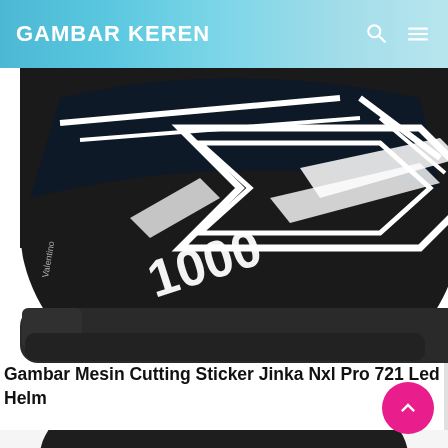GAMBAR KEREN
[Figure (photo): Close-up photo of a black motorcycle helmet with white geometric chevron/arrow sticker graphics and the number '1000' on the side, against a white background.]
Gambar Mesin Cutting Sticker Jinka Nxl Pro 721 Led Helm
[Figure (photo): Partial view of a black AGV motorcycle helmet with colorful sticker graphics, showing the AGV logo and 'XTREME' text.]